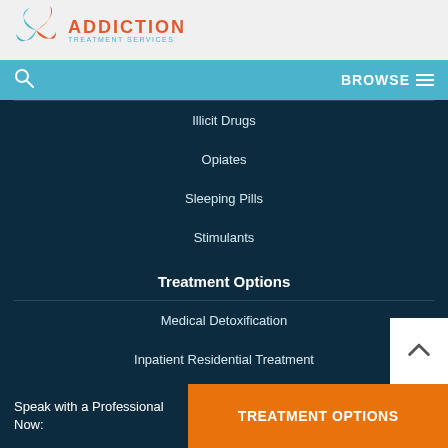ADDICTION TREATMENT SERVICES
Illicit Drugs
Opiates
Sleeping Pills
Stimulants
Treatment Options
Medical Detoxification
Inpatient Residential Treatment
Partial Hospitalization Programs
Outpatient Treatment Programs
Speak with a Professional Now: | TREATMENT OPTIONS